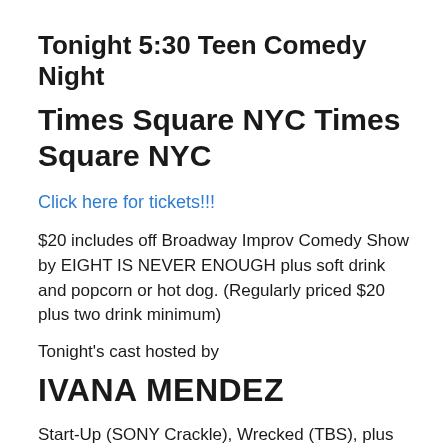Tonight 5:30 Teen Comedy Night
Times Square NYC Times Square NYC
Click here for tickets!!!
$20 includes off Broadway Improv Comedy Show by EIGHT IS NEVER ENOUGH plus soft drink and popcorn or hot dog. (Regularly priced $20 plus two drink minimum)
Tonight's cast hosted by
IVANA MENDEZ
Start-Up (SONY Crackle), Wrecked (TBS), plus numerous